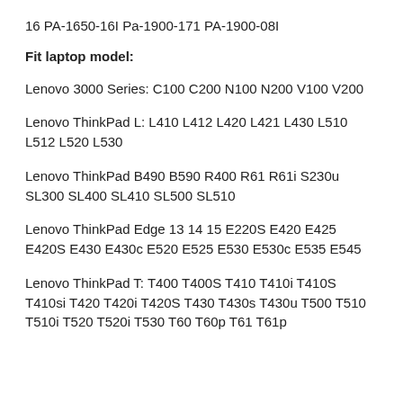16 PA-1650-16I Pa-1900-171 PA-1900-08I
Fit laptop model:
Lenovo 3000 Series: C100 C200 N100 N200 V100 V200
Lenovo ThinkPad L: L410 L412 L420 L421 L430 L510 L512 L520 L530
Lenovo ThinkPad B490 B590 R400 R61 R61i S230u SL300 SL400 SL410 SL500 SL510
Lenovo ThinkPad Edge 13 14 15 E220S E420 E425 E420S E430 E430c E520 E525 E530 E530c E535 E545
Lenovo ThinkPad T: T400 T400S T410 T410i T410S T410si T420 T420i T420S T430 T430s T430u T500 T510 T510i T520 T520i T530 T60 T60p T61 T61p